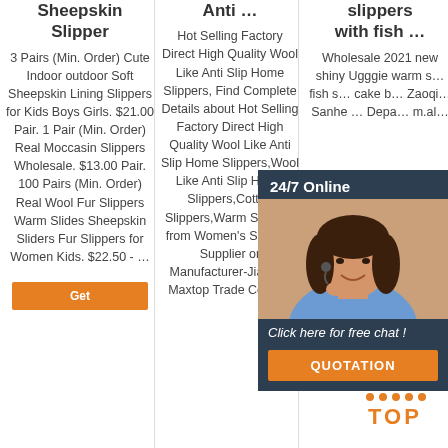Sheepskin Slipper
3 Pairs (Min. Order) Cute Indoor outdoor Soft Sheepskin Lining Slippers for Kids Boys Girls. $21.00 Pair. 1 Pair (Min. Order) Real Moccasin Slippers Wholesale. $13.00 Pair. 100 Pairs (Min. Order) Real Wool Fur Slippers Warm Slides Sheepskin Sliders Fur Slippers for Women Kids. $22.50 - …
Anti ...
Hot Selling Factory Direct High Quality Wool Like Anti Slip Home Slippers, Find Complete Details about Hot Selling Factory Direct High Quality Wool Like Anti Slip Home Slippers,Wool Like Anti Slip Home Slippers,Cotton Slippers,Warm Slippers from Women's Slippers Supplier or Manufacturer-Jiaozuo Maxtop Trade Co., Ltd
slippers with fish ...
Wholesale 2021 new shiny Ugggie warm s... fish s... cake b... Zaoqi... Sanhe ... Depa... m.al...
[Figure (illustration): Chat widget with agent photo, 24/7 Online text, Click here for free chat tagline, and QUOTATION button]
[Figure (illustration): TOP button with orange dotted triangle icon and TOP text in orange]